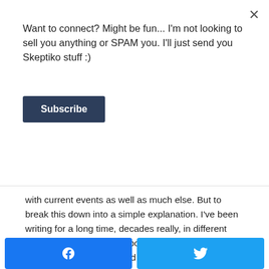Want to connect? Might be fun... I'm not looking to sell you anything or SPAM you. I'll just send you Skeptiko stuff :)
Subscribe
with current events as well as much else. But to break this down into a simple explanation. I've been writing for a long time, decades really, in different books at different times about what I call a mind virus. And when I say mind virus, and I've mentioned it already in our chat, I'm not talking about the kind of virus that people say is a physical virus, I'm talking about a computer virus, or the equivalent of a computer virus. And it basically works in the human mind in the same way that a computer virus works.